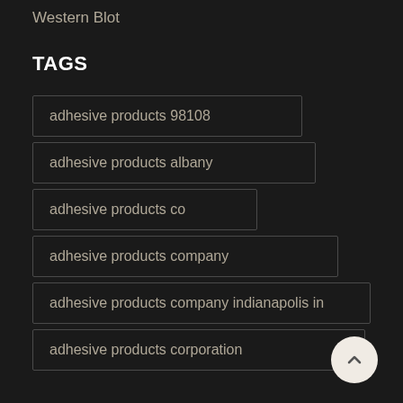Western Blot
TAGS
adhesive products 98108
adhesive products albany
adhesive products co
adhesive products company
adhesive products company indianapolis in
adhesive products corporation